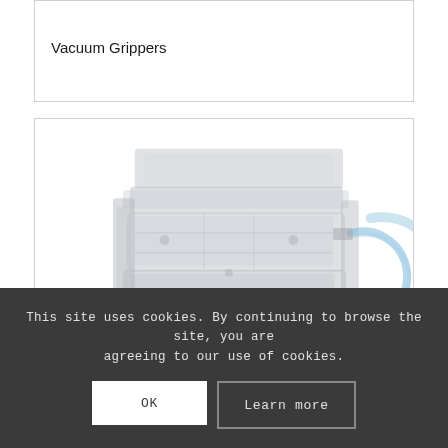Vacuum Grippers
[Figure (photo): A faded/watermarked image of a vacuum gripper device, showing a mechanical gripper unit with hoses and blue tubing attached, viewed from the side.]
This site uses cookies. By continuing to browse the site, you are agreeing to our use of cookies.
OK
Learn more